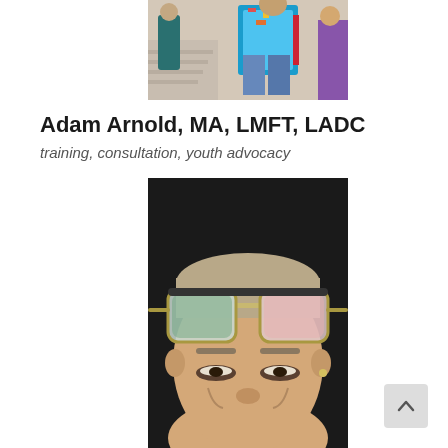[Figure (photo): Top portion of a photo showing people walking, colorful clothing, outdoor scene]
Adam Arnold, MA, LMFT, LADC
training, consultation, youth advocacy
[Figure (photo): Close-up portrait of a man with short hair, wearing large square sunglasses on top of his head, smiling, dark background]